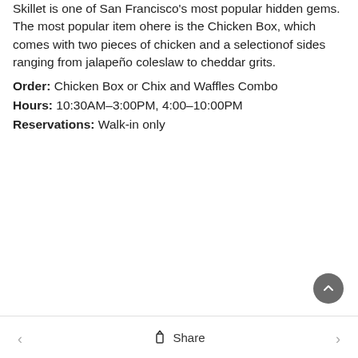Skillet is one of San Francisco's most popular hidden gems. The most popular item ohere is the Chicken Box, which comes with two pieces of chicken and a selectionof sides ranging from jalapeño coleslaw to cheddar grits.
Order: Chicken Box or Chix and Waffles Combo
Hours: 10:30AM–3:00PM, 4:00–10:00PM
Reservations: Walk-in only